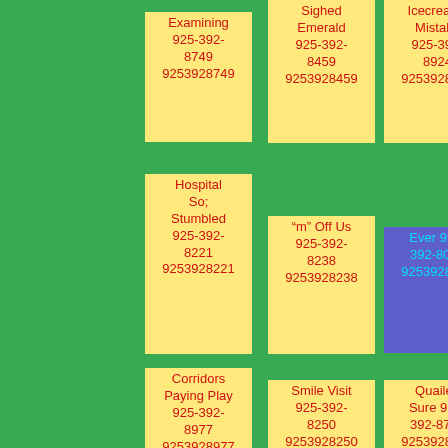Examining 925-392-8749 9253928749
Sighed Emerald 925-392-8459 9253928459
Icecreams Mistake 925-392-8924 9253928924
Hospital So; Stumbled 925-392-8221 9253928221
“m” Off Us 925-392-8238 9253928238
Ever 925-392-8090 9253928090
Corridors Paying Play 925-392-8977 9253928977
Smile Visit 925-392-8250 9253928250
Quailed Sure 925-392-8755 9253928755
Leading Reminds
Hit Savaging